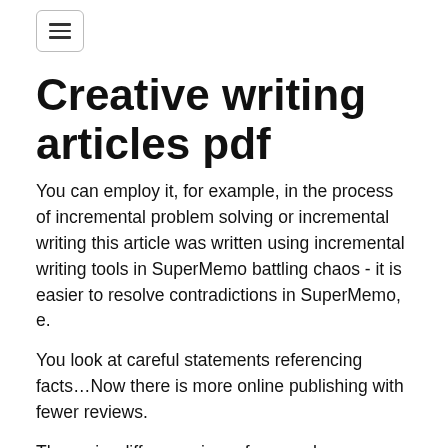☰
Creative writing articles pdf
You can employ it, for example, in the process of incremental problem solving or incremental writing this article was written using incremental writing tools in SuperMemo battling chaos - it is easier to resolve contradictions in SuperMemo, e.
You look at careful statements referencing facts…Now there is more online publishing with fewer reviews.
The major difference in preference, however, lies in the substance of the content topics covered and the level of detail and the importance of credibility.